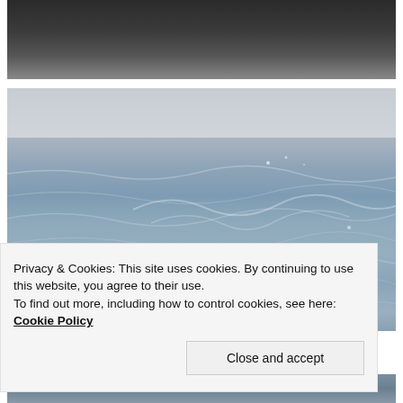[Figure (photo): Dark sky or water surface photograph, very dark tones]
[Figure (photo): Ocean surface with gentle waves and light blue-gray sky, sunlight glinting on water]
Privacy & Cookies: This site uses cookies. By continuing to use this website, you agree to their use.
To find out more, including how to control cookies, see here: Cookie Policy
Close and accept